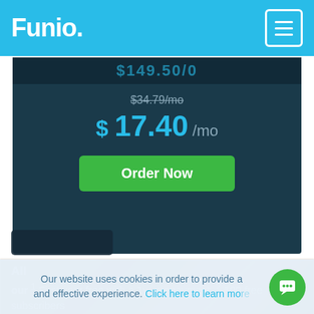Funio.
$34.79/mo
$ 17.40 /mo
Order Now
All our ¹ First year free with a 1yr prepayment, ² 100 free subscribers web ³ The promotional price applies to the first month of new orders. hosting plans include: cPanel, Shared IP, 24/7 support
Our website uses cookies in order to provide a and effective experience. Click here to learn more